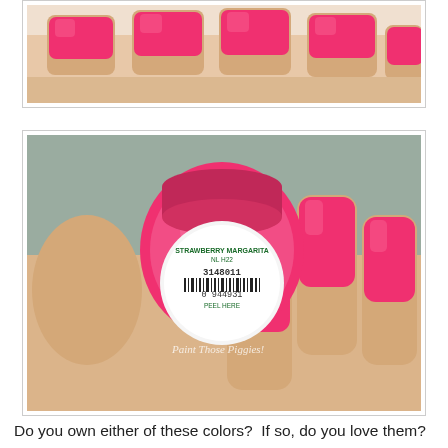[Figure (photo): Close-up of a hand showing four fingers with bright hot pink nail polish, viewed from above against a light background.]
[Figure (photo): Hand holding a small bottle of OPI nail polish bottom-up showing barcode label reading '3148011 0 944931' and 'STRAWBERRY MARGARITA NL H22 PEEL HERE', with painted hot pink nails visible. Watermark reads 'Paint Those Piggies!']
Do you own either of these colors?  If so, do you love them?